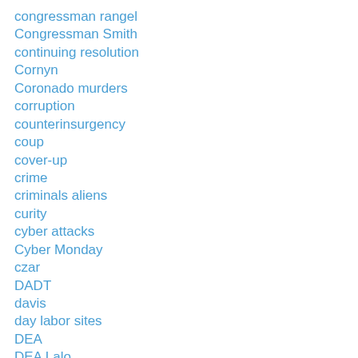congressman rangel
Congressman Smith
continuing resolution
Cornyn
Coronado murders
corruption
counterinsurgency
coup
cover-up
crime
criminals aliens
curity
cyber attacks
Cyber Monday
czar
DADT
davis
day labor sites
DEA
DEA Lalo